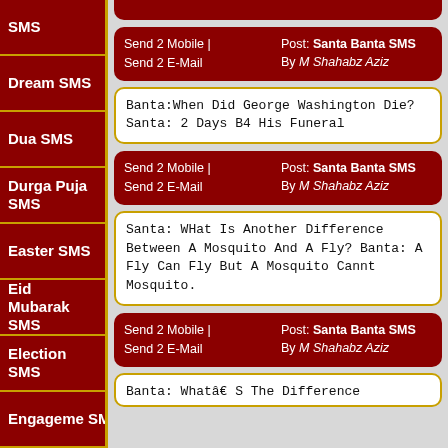SMS
Dream SMS
Dua SMS
Durga Puja SMS
Easter SMS
Eid Mubarak SMS
Election SMS
Engagement SMS
Erotic
Send 2 Mobile | Send 2 E-Mail
Post: Santa Banta SMS By M Shahabz Aziz
Banta:When Did George Washington Die? Santa: 2 Days B4 His Funeral
Send 2 Mobile | Send 2 E-Mail
Post: Santa Banta SMS By M Shahabz Aziz
Santa: WHat Is Another Difference Between A Mosquito And A Fly? Banta: A Fly Can Fly But A Mosquito Cannt Mosquito.
Send 2 Mobile | Send 2 E-Mail
Post: Santa Banta SMS By M Shahabz Aziz
Banta: Whatâ€ S The Difference